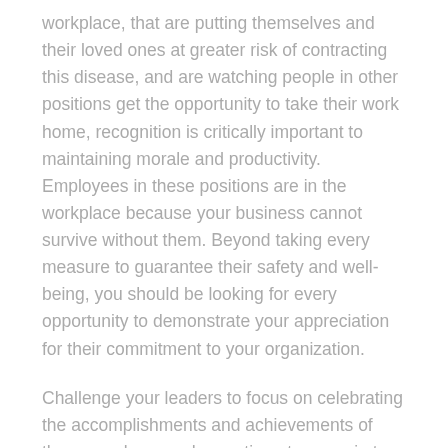workplace, that are putting themselves and their loved ones at greater risk of contracting this disease, and are watching people in other positions get the opportunity to take their work home, recognition is critically important to maintaining morale and productivity.  Employees in these positions are in the workplace because your business cannot survive without them. Beyond taking every measure to guarantee their safety and well-being, you should be looking for every opportunity to demonstrate your appreciation for their commitment to your organization.
Challenge your leaders to focus on celebrating the accomplishments and achievements of these employees who continue to come in to the workplace. Make sure they're aware of your